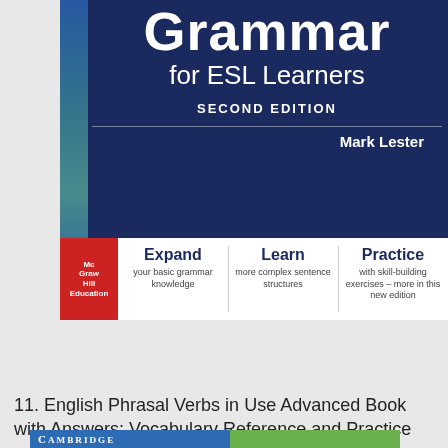[Figure (photo): Book cover for 'Grammar for ESL Learners, Second Edition' by Mark Lester, published by McGraw-Hill Education. Dark blue cover with white title text. Bottom section is white with three columns: Expand (your basic grammar knowledge), Learn (more complex sentence structures), Practice (with skill-building exercises – more in this new edition).]
[Figure (screenshot): Green 'Go to amazon.com' button]
11. English Phrasal Verbs in Use Advanced Book with Answers: Vocabulary Reference and Practice
[Figure (photo): Cambridge publisher logo bar at bottom of page, blue bar with 'CAMBRIDGE' text in white, followed by green bar]